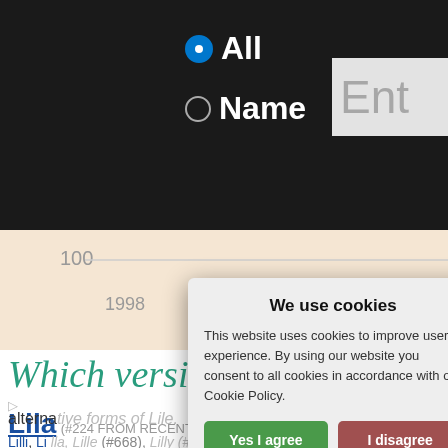[Figure (screenshot): Website screenshot showing search UI with 'All' and 'Name' radio buttons, an input field partially showing 'Ent', a line chart with years 1998-2010 on x-axis and value 100 on y-axis, page content about name 'Lila' and its variants, overlaid by a cookie consent modal dialog with 'We use cookies' title, 'Yes I agree', 'I disagree', and 'Read more' buttons, and 'Free cookie consent by cookie-script.com' footer.]